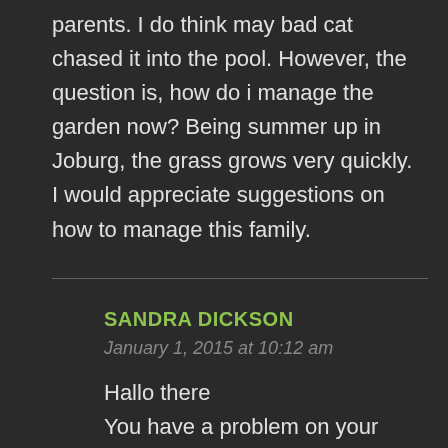parents. I do think may bad cat chased it into the pool. However, the question is, how do i manage the garden now? Being summer up in Joburg, the grass grows very quickly.
I would appreciate suggestions on how to manage this family.
SANDRA DICKSON
January 1, 2015 at 10:12 am
Hallo there
You have a problem on your hands. The 2 Dikkops that visit me returns every year